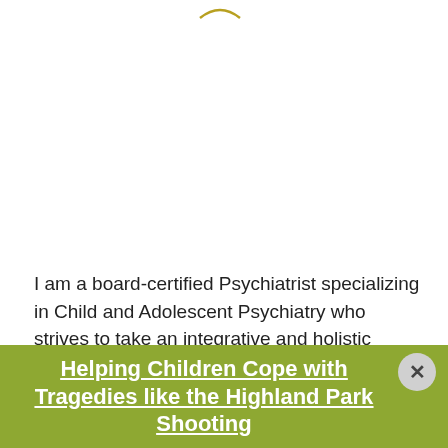I am a board-certified Psychiatrist specializing in Child and Adolescent Psychiatry who strives to take an integrative and holistic approach to treatment by collaborating with patients and families to tailor treat... of... understand patient... cultural background as part of my approach to treatment I se...
Helping Children Cope with Tragedies like the Highland Park Shooting